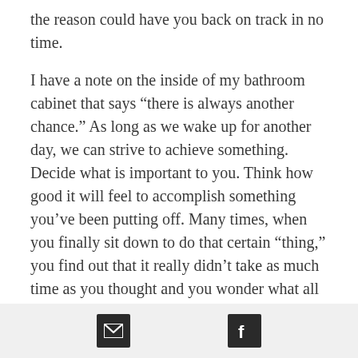the reason could have you back on track in no time.

I have a note on the inside of my bathroom cabinet that says “there is always another chance.” As long as we wake up for another day, we can strive to achieve something. Decide what is important to you. Think how good it will feel to accomplish something you’ve been putting off. Many times, when you finally sit down to do that certain “thing,” you find out that it really didn’t take as much time as you thought and you wonder what all the fuss was about. Either way it is always a relief to have it done so it is no longer circling in your
[email icon] [facebook icon]